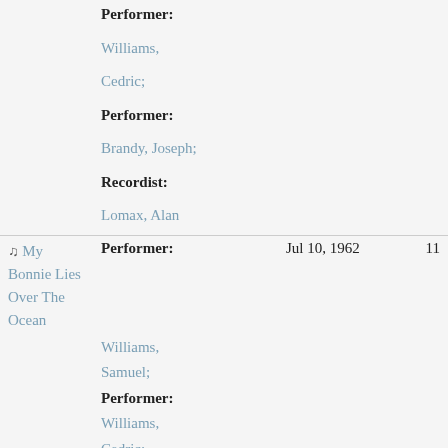| Title | Role/Person | Date | Count |
| --- | --- | --- | --- |
|  | Performer: |  |  |
|  | Williams, Cedric; |  |  |
|  | Performer: |  |  |
|  | Brandy, Joseph; |  |  |
|  | Recordist: |  |  |
|  | Lomax, Alan |  |  |
| ♫ My Bonnie Lies Over The Ocean | Performer: | Jul 10, 1962 | 11 |
|  | Williams, Samuel; |  |  |
|  | Performer: |  |  |
|  | Williams, Cedric; |  |  |
|  | Performer: |  |  |